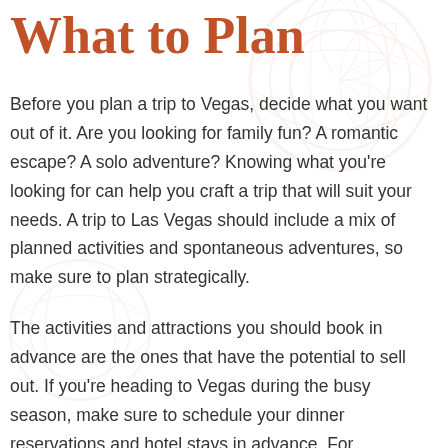What to Plan
Before you plan a trip to Vegas, decide what you want out of it. Are you looking for family fun? A romantic escape? A solo adventure? Knowing what you’re looking for can help you craft a trip that will suit your needs. A trip to Las Vegas should include a mix of planned activities and spontaneous adventures, so make sure to plan strategically.
The activities and attractions you should book in advance are the ones that have the potential to sell out. If you’re heading to Vegas during the busy season, make sure to schedule your dinner reservations and hotel stays in advance. For attractions